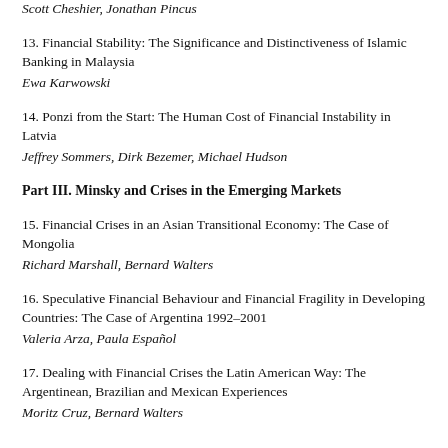Scott Cheshier, Jonathan Pincus
13. Financial Stability: The Significance and Distinctiveness of Islamic Banking in Malaysia
Ewa Karwowski
14. Ponzi from the Start: The Human Cost of Financial Instability in Latvia
Jeffrey Sommers, Dirk Bezemer, Michael Hudson
Part III. Minsky and Crises in the Emerging Markets
15. Financial Crises in an Asian Transitional Economy: The Case of Mongolia
Richard Marshall, Bernard Walters
16. Speculative Financial Behaviour and Financial Fragility in Developing Countries: The Case of Argentina 1992–2001
Valeria Arza, Paula Español
17. Dealing with Financial Crises the Latin American Way: The Argentinean, Brazilian and Mexican Experiences
Moritz Cruz, Bernard Walters